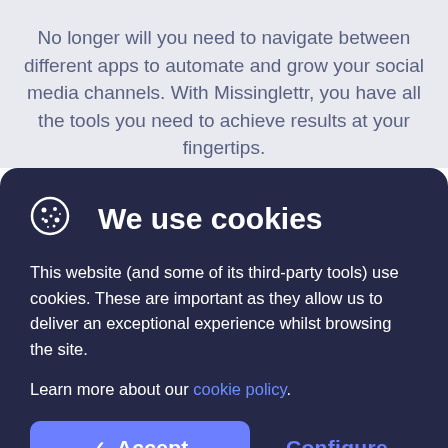No longer will you need to navigate between different apps to automate and grow your social media channels. With Missinglettr, you have all the tools you need to achieve results at your fingertips.
We use cookies
This website (and some of its third-party tools) use cookies. These are important as they allow us to deliver an exceptional experience whilst browsing the site.
Learn more about our cookie policy.
Accept
Configure